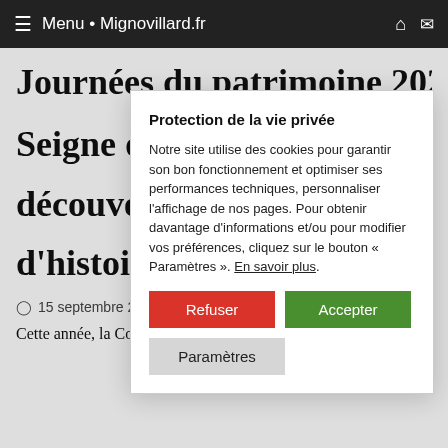≡ Menu • Mignovillard.fr
Journées du patrimoine 2021 |
Seigne de
découver
d'histoire
15 septembre 2...
Cette année, la Commune de Mignovillard consacre les
Protection de la vie privée
Notre site utilise des cookies pour garantir son bon fonctionnement et optimiser ses performances techniques, personnaliser l'affichage de nos pages. Pour obtenir davantage d'informations et/ou pour modifier vos préférences, cliquez sur le bouton « Paramètres ». En savoir plus.
Refuser
Accepter
Paramètres